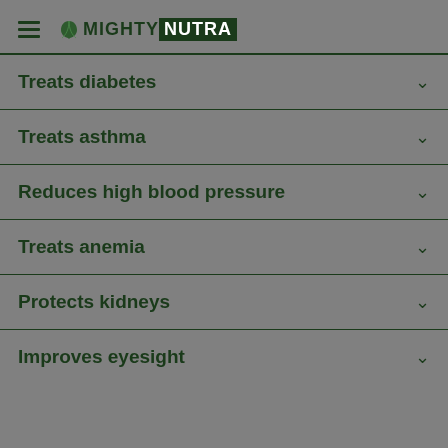MIGHTY NUTRA
Treats diabetes
Treats asthma
Reduces high blood pressure
Treats anemia
Protects kidneys
Improves eyesight